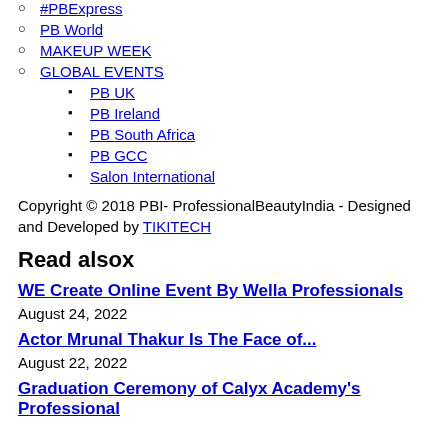#PBExpress
PB World
MAKEUP WEEK
GLOBAL EVENTS
PB UK
PB Ireland
PB South Africa
PB GCC
Salon International
Copyright © 2018 PBI- ProfessionalBeautyIndia - Designed and Developed by TIKITECH
Read alsox
WE Create Online Event By Wella Professionals
August 24, 2022
Actor Mrunal Thakur Is The Face of...
August 22, 2022
Graduation Ceremony of Calyx Academy's Professional